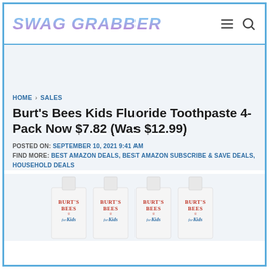SWAG GRABBER
HOME > SALES
Burt's Bees Kids Fluoride Toothpaste 4-Pack Now $7.82 (Was $12.99)
POSTED ON: SEPTEMBER 10, 2021 9:41 AM
FIND MORE: BEST AMAZON DEALS, BEST AMAZON SUBSCRIBE & SAVE DEALS, HOUSEHOLD DEALS
[Figure (photo): Four white tubes of Burt's Bees for Kids toothpaste lined up side by side]